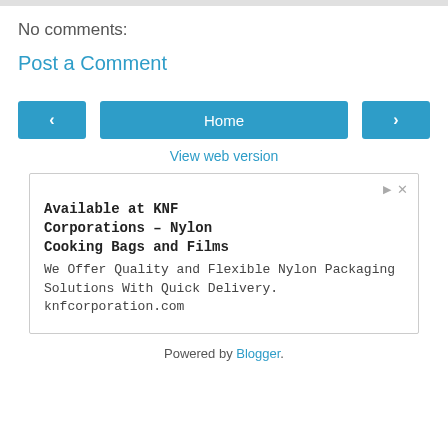No comments:
Post a Comment
[Figure (screenshot): Navigation row with left arrow button, Home button, and right arrow button]
View web version
[Figure (other): Advertisement box: Available at KNF Corporations - Nylon Cooking Bags and Films. We Offer Quality and Flexible Nylon Packaging Solutions With Quick Delivery. knfcorporation.com]
Powered by Blogger.